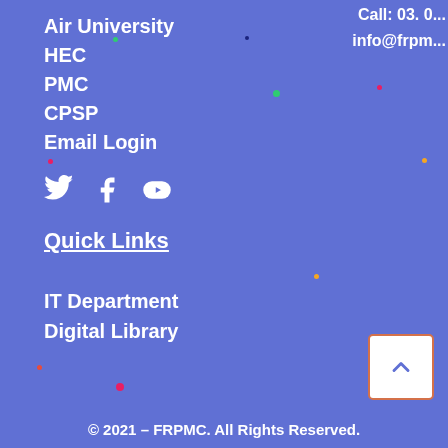Call: 03. 0... info@frpm...
Air University
HEC
PMC
CPSP
Email Login
[Figure (infographic): Social media icons: Twitter bird, Facebook f, YouTube play button]
Quick Links
IT Department
Digital Library
© 2021 – FRPMC. All Rights Reserved.